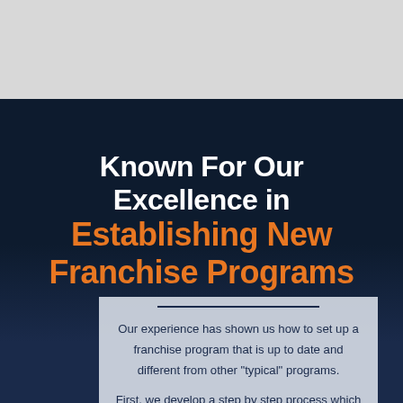Known For Our Excellence in Establishing New Franchise Programs
Our experience has shown us how to set up a franchise program that is up to date and different from other “typical” programs.
First, we develop a step by step process which is simple, direct and highlights the